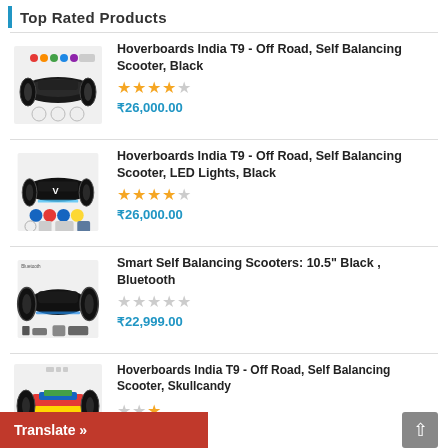Top Rated Products
[Figure (photo): Black off-road hoverboard scooter product image]
Hoverboards India T9 - Off Road, Self Balancing Scooter, Black
★★★★☆ ₹26,000.00
[Figure (photo): Black off-road hoverboard scooter with LED lights product image]
Hoverboards India T9 - Off Road, Self Balancing Scooter, LED Lights, Black
★★★★☆ ₹26,000.00
[Figure (photo): Black 10.5 inch self balancing scooter with accessories product image]
Smart Self Balancing Scooters: 10.5" Black , Bluetooth
☆☆☆☆☆ ₹22,999.00
[Figure (photo): Skullcandy themed hoverboard scooter product image]
Hoverboards India T9 - Off Road, Self Balancing Scooter, Skullcandy
☆☆★ (partial rating shown)
Translate »